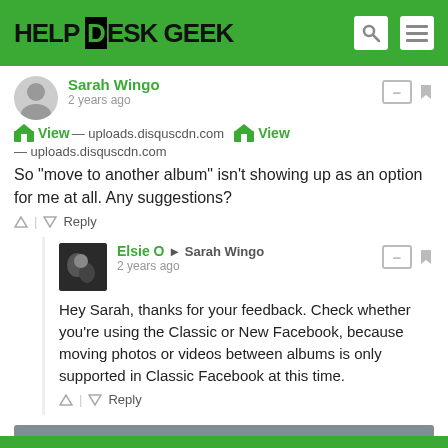HELP DESK GEEK
Sarah Wingo
2 years ago
View — uploads.disquscdn.com  View — uploads.disquscdn.com
So "move to another album" isn't showing up as an option for me at all. Any suggestions?
Elsie O → Sarah Wingo
2 years ago
Hey Sarah, thanks for your feedback. Check whether you're using the Classic or New Facebook, because moving photos or videos between albums is only supported in Classic Facebook at this time.
Load more comments